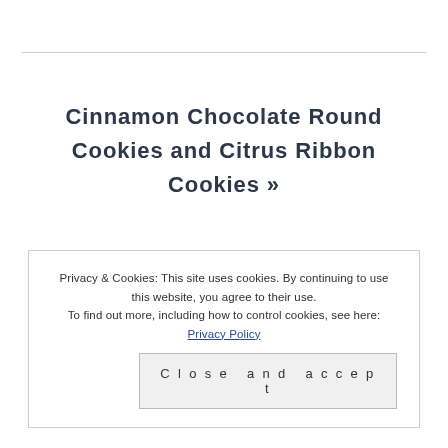Cinnamon Chocolate Round Cookies and Citrus Ribbon Cookies »
Privacy & Cookies: This site uses cookies. By continuing to use this website, you agree to their use. To find out more, including how to control cookies, see here: Privacy Policy